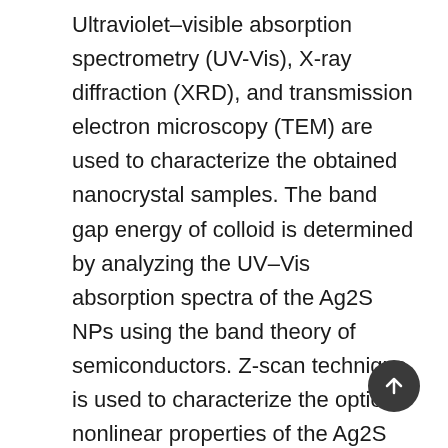Ultraviolet–visible absorption spectrometry (UV-Vis), X-ray diffraction (XRD), and transmission electron microscopy (TEM) are used to characterize the obtained nanocrystal samples. The band gap energy of colloid is determined by analyzing the UV–Vis absorption spectra of the Ag2S NPs using the band theory of semiconductors. Z-scan technique is used to characterize the optical nonlinear properties of the Ag2S nanoparticles (NPs). Large enhancement of two photon absorption effect is observed with increase in concentration of the Ag2S nanoparticles using open Z-scan measurements in the ns laser regime. The values of the nonlinear absorption coefficients are determined based on the local nonlinear responses including two photon absorption. The observed aperture dependence of the Ag2S NP limiting performance indicates that the nonlinear scattering also plays an important role in the limiting of the